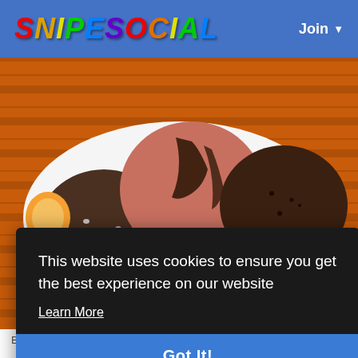SNIPESOCIAL   Join
[Figure (photo): Bowl of ice cream scoops with chocolate sauce and orange fruit slices on an orange bamboo mat background. FOOD badge in lower left.]
This website uses cookies to ensure you get the best experience on our website
Learn More
Got It!
By Archana Aher  a day ago  0  4